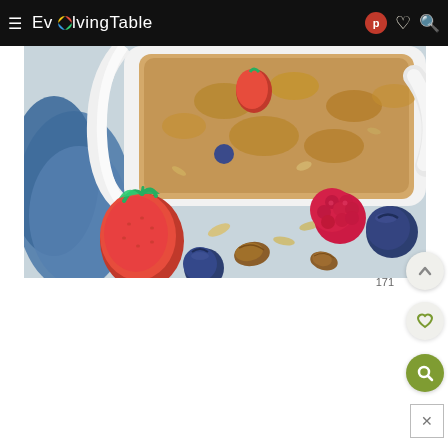EvolvingTable
[Figure (photo): Overhead view of a baking dish with granola, berries and nuts, with strawberry, raspberry, blueberry and pecan pieces scattered on a light blue-grey surface, with a blue cloth napkin visible on the left]
171